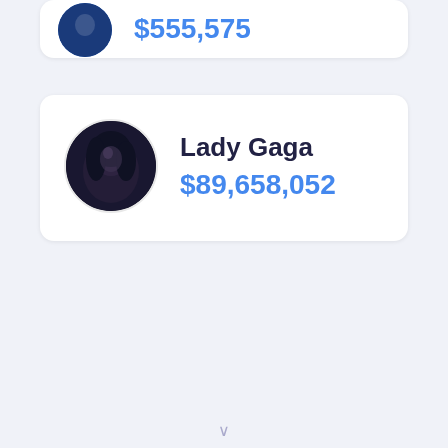$[truncated value]
Lady Gaga
$89,658,052